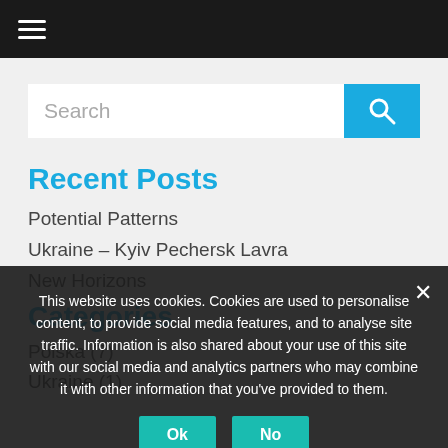≡
[Figure (screenshot): Search input box with blue search button]
Recent Posts
Potential Patterns
Ukraine – Kyiv Pechersk Lavra
New Horizons
Categories
Polska (7)
Ukraine (1)
This website uses cookies. Cookies are used to personalise content, to provide social media features, and to analyse site traffic. Information is also shared about your use of this site with our social media and analytics partners who may combine it with other information that you've provided to them.